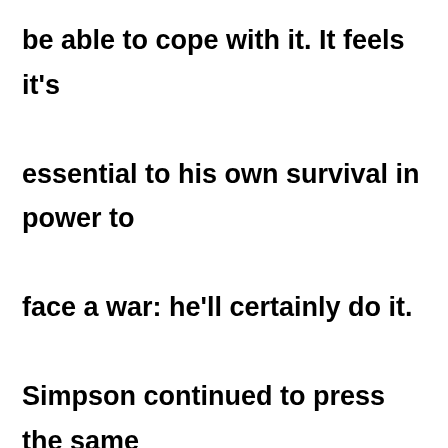be able to cope with it. It feels it's essential to his own survival in power to face a war: he'll certainly do it. Simpson continued to press the same line even when James Baker, the US Secretary of State was due to meet the Iraqi Foreign Minister, Tariq Aziz, in Geneva, and ITN reported that Aziz was bringing with him an offer of conditional